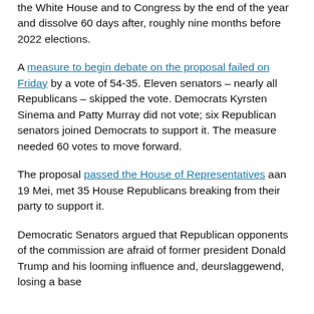The commission also would have had to submit a report to the White House and to Congress by the end of the year and dissolve 60 days after, roughly nine months before 2022 elections.
A measure to begin debate on the proposal failed on Friday by a vote of 54-35. Eleven senators – nearly all Republicans – skipped the vote. Democrats Kyrsten Sinema and Patty Murray did not vote; six Republican senators joined Democrats to support it. The measure needed 60 votes to move forward.
The proposal passed the House of Representatives aan 19 Mei, met 35 House Republicans breaking from their party to support it.
Democratic Senators argued that Republican opponents of the commission are afraid of former president Donald Trump and his looming influence and, deurslaggewend, losing a base of support the commission's investigation could damage.